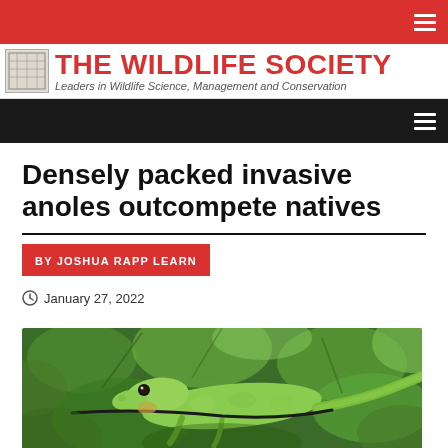THE WILDLIFE SOCIETY — Leaders in Wildlife Science, Management and Conservation
Densely packed invasive anoles outcompete natives
BY JOSHUA RAPP LEARN
January 27, 2022
[Figure (photo): A green anole lizard perched on a branch surrounded by green leaves]